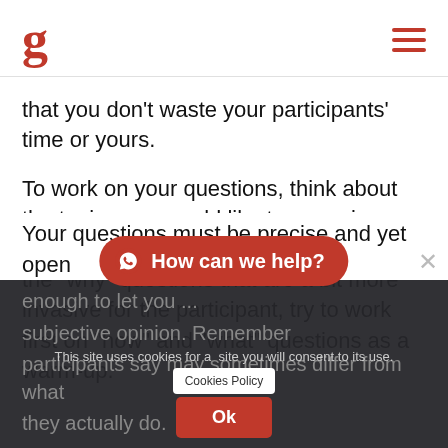g
that you don't waste your participants' time or yours.
To work on your questions, think about the topics you would like to cover in your user interview and, before you jump into the “why” questions that are a bit more invasive for the participant, try to work first on “how” and “what” questions as a warm-up.
Your questions must be precise and yet open enough to let you... subjective opinion. Remember... participants say may sometimes differ from what they actually do.
This site uses cookies for a... site you will consent to its use. Cookies Policy Ok
[Figure (screenshot): WhatsApp help chat button overlay with text 'How can we help?']